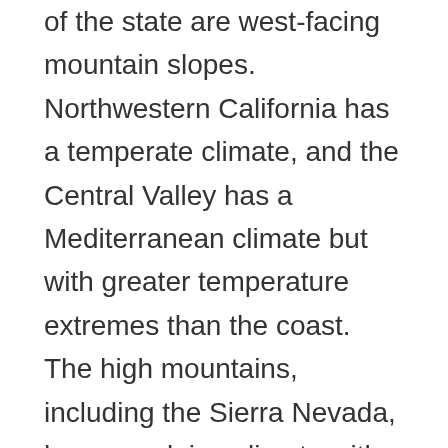of the state are west-facing mountain slopes. Northwestern California has a temperate climate, and the Central Valley has a Mediterranean climate but with greater temperature extremes than the coast. The high mountains, including the Sierra Nevada, have an alpine climate with snow in winter and mild to moderate heat in summer.
California's mountains produce rain shadows on the eastern side, creating extensive deserts. The higher elevation deserts of eastern California have hot summers and cold winters, while the low deserts east of the Southern California mountains have hot summers and